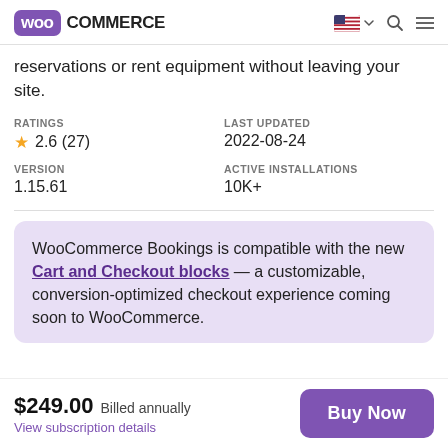WooCommerce
reservations or rent equipment without leaving your site.
RATINGS
★ 2.6 (27)
LAST UPDATED
2022-08-24
VERSION
1.15.61
ACTIVE INSTALLATIONS
10K+
WooCommerce Bookings is compatible with the new Cart and Checkout blocks — a customizable, conversion-optimized checkout experience coming soon to WooCommerce.
$249.00 Billed annually
View subscription details
Buy Now